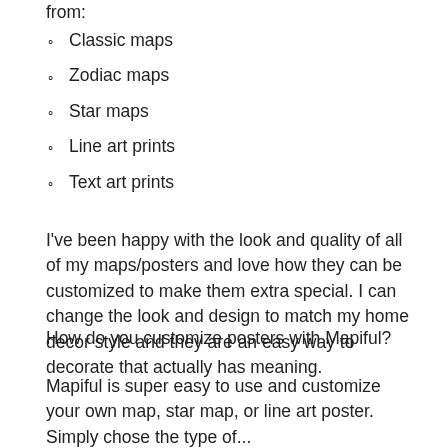from:
Classic maps
Zodiac maps
Star maps
Line art prints
Text art prints
I've been happy with the look and quality of all of my maps/posters and love how they can be customized to make them extra special. I can change the look and design to match my home decor style and they are an easy way to decorate that actually has meaning.
How do you customize posters with Mapiful?
Mapiful is super easy to use and customize your own map, star map, or line art poster. Simply chose the type of...